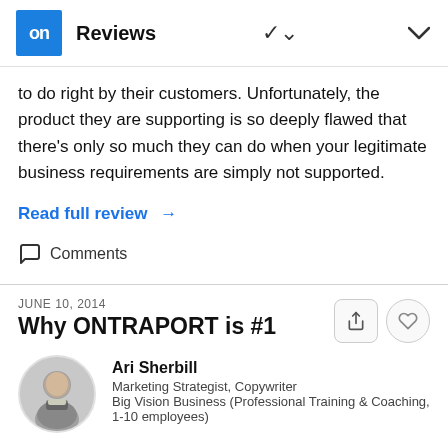on Reviews
to do right by their customers. Unfortunately, the product they are supporting is so deeply flawed that there's only so much they can do when your legitimate business requirements are simply not supported.
Read full review →
Comments
JUNE 10, 2014
Why ONTRAPORT is #1
Ari Sherbill
Marketing Strategist, Copywriter
Big Vision Business (Professional Training & Coaching, 1-10 employees)